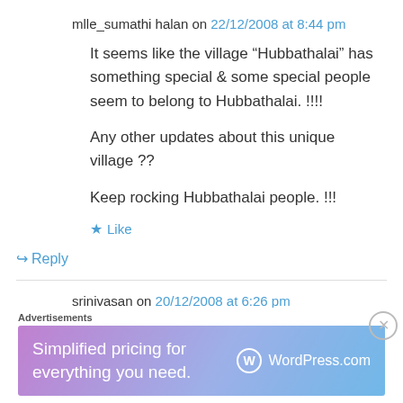mlle_sumathi halan on 22/12/2008 at 8:44 pm
It seems like the village “Hubbathalai” has something special & some special people seem to belong to Hubbathalai. !!!!
Any other updates about this unique village ??
Keep rocking Hubbathalai people. !!!
★ Like
↪ Reply
srinivasan on 20/12/2008 at 6:26 pm
Advertisements
[Figure (screenshot): WordPress.com advertisement banner: 'Simplified pricing for everything you need.' with WordPress.com logo on gradient purple-blue background]